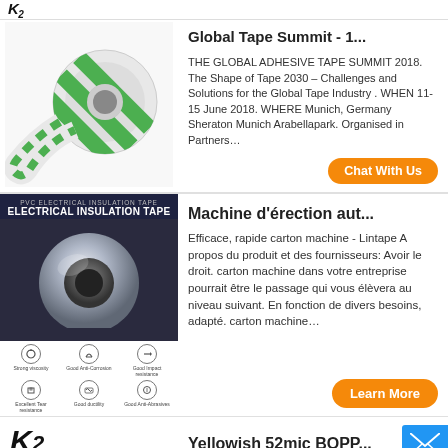K2
[Figure (photo): Roll of green and white striped adhesive tape]
Global Tape Summit - 1...
THE GLOBAL ADHESIVE TAPE SUMMIT 2018. The Shape of Tape 2030 – Challenges and Solutions for the Global Tape Industry . WHEN 11-15 June 2018. WHERE Munich, Germany Sheraton Munich Arabellapark. Organised in Partners…
Chat With Us
[Figure (photo): PVC Electrical Insulation Tape product image with features listed]
Machine d'érection aut...
Efficace, rapide carton machine - Lintape A propos du produit et des fournisseurs: Avoir le droit. carton machine dans votre entreprise pourrait être le passage qui vous élèvera au niveau suivant. En fonction de divers besoins, adapté. carton machine…
Learn More
[Figure (logo): K2 logo]
Yellowish 52mic BOPP...